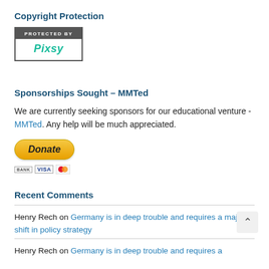Copyright Protection
[Figure (logo): Pixsy copyright protection badge — dark gray top bar reading 'PROTECTED BY', white bottom with teal 'Pixsy' text]
Sponsorships Sought – MMTed
We are currently seeking sponsors for our educational venture - MMTed. Any help will be much appreciated.
[Figure (other): PayPal Donate button (yellow/gold rounded rectangle with italic bold 'Donate' text) and payment card icons (BANK, VISA, Mastercard)]
Recent Comments
Henry Rech on Germany is in deep trouble and requires a major shift in policy strategy
Henry Rech on Germany is in deep trouble and requires a